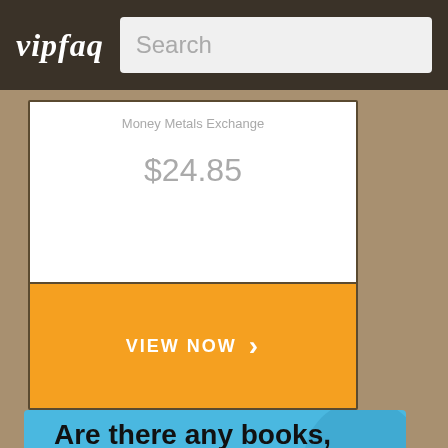vipfaq | Search
Money Metals Exchange
$24.85
VIEW NOW →
Are there any books, DVDs or other memorabilia of Abdou Ouro-Akpo? Is there a Abdou Ouro-Akpo